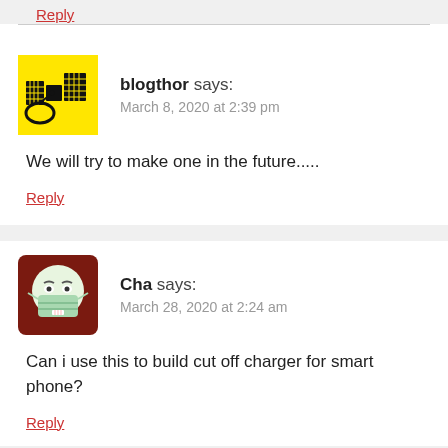Reply
blogthor says:
March 8, 2020 at 2:39 pm
We will try to make one in the future.....
Reply
Cha says:
March 28, 2020 at 2:24 am
Can i use this to build cut off charger for smart phone?
Reply